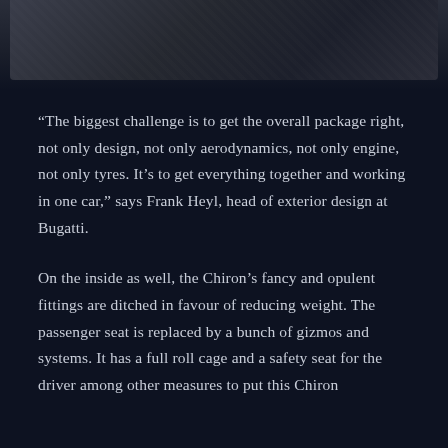[Figure (photo): Partial bottom portion of a dark photograph, likely showing a dark-colored car or fabric surface, dark blue-black tones]
“The biggest challenge is to get the overall package right, not only design, not only aerodynamics, not only engine, not only tyres. It’s to get everything together and working in one car,” says Frank Heyl, head of exterior design at Bugatti.
On the inside as well, the Chiron’s fancy and opulent fittings are ditched in favour of reducing weight. The passenger seat is replaced by a bunch of gizmos and systems. It has a full roll cage and a safety seat for the driver among other measures to put this Chiron